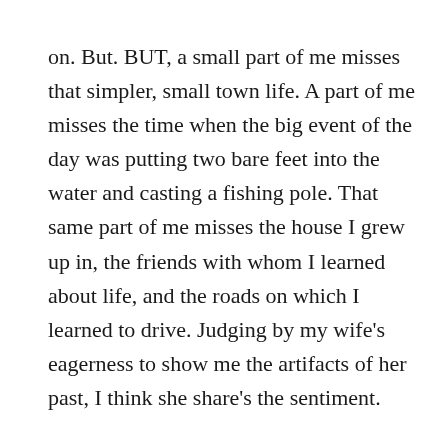on. But. BUT, a small part of me misses that simpler, small town life. A part of me misses the time when the big event of the day was putting two bare feet into the water and casting a fishing pole. That same part of me misses the house I grew up in, the friends with whom I learned about life, and the roads on which I learned to drive. Judging by my wife's eagerness to show me the artifacts of her past, I think she share's the sentiment.
I'm sure this is just the nostalgia of the trip taking hold. If you moved us back to Portsmouth today, my wife and I would go stir crazy in 3 days – or less. I think the important thing here is to revisit memory lane with vulnerability every now and again. With vulnerability, I mean to be open to the trip, to slow down and walk the